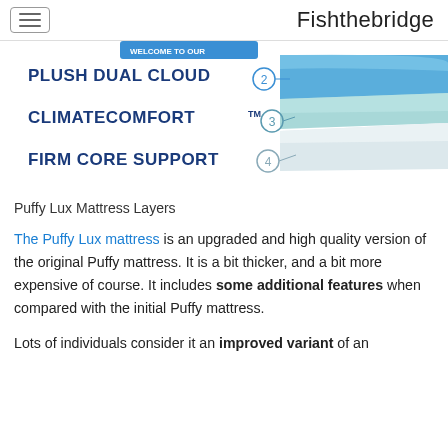Fishthebridge
[Figure (infographic): Puffy Lux Mattress layers diagram showing: PLUSH DUAL CLOUD (layer 2, blue), CLIMATECOMFORT TM (layer 3, light teal), FIRM CORE SUPPORT (layer 4, white/grey)]
Puffy Lux Mattress Layers
The Puffy Lux mattress is an upgraded and high quality version of the original Puffy mattress. It is a bit thicker, and a bit more expensive of course. It includes some additional features when compared with the initial Puffy mattress.
Lots of individuals consider it an improved variant of an